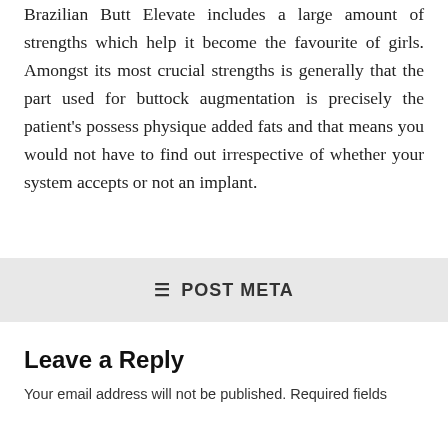Brazilian Butt Elevate includes a large amount of strengths which help it become the favourite of girls. Amongst its most crucial strengths is generally that the part used for buttock augmentation is precisely the patient's possess physique added fats and that means you would not have to find out irrespective of whether your system accepts or not an implant.
☰  POST META
Leave a Reply
Your email address will not be published. Required fields